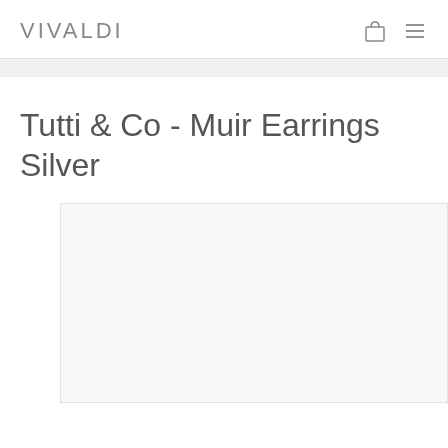VIVALDI
Tutti & Co - Muir Earrings Silver
[Figure (photo): Product image area for Tutti & Co Muir Earrings Silver, showing a large white/light gray image panel with a smaller partial thumbnail to the left]